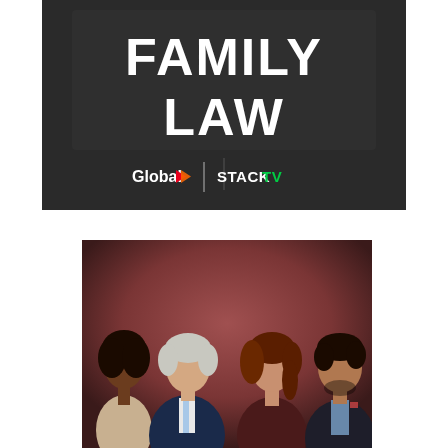[Figure (illustration): Family Law TV show title card on dark textured background showing 'FAMILY LAW' in large white bold text, with Global TV and STACKTV logos below]
[Figure (photo): Cast photo of four actors from Family Law TV show standing against a dark reddish-brown background: a Black woman on far left, an older white-haired man in navy suit with light blue tie, a woman with red-brown hair in dark burgundy top, and a dark-haired man in dark suit on far right]